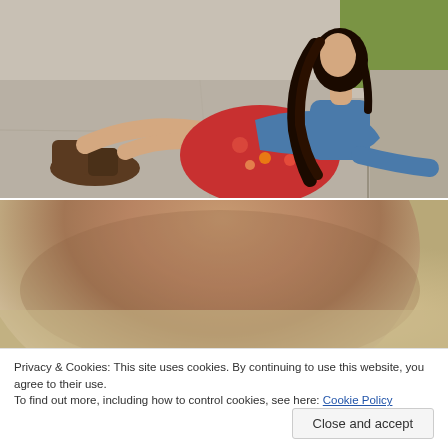[Figure (photo): Young woman with long dark hair sitting on pavement/sidewalk, wearing a red floral dress, denim jacket, and brown cowboy boots, posed leaning back with legs extended]
[Figure (photo): Close-up blurred photo showing skin/leg detail with sandy/pavement background, partially obscured by cookie consent overlay]
Privacy & Cookies: This site uses cookies. By continuing to use this website, you agree to their use.
To find out more, including how to control cookies, see here: Cookie Policy
Close and accept